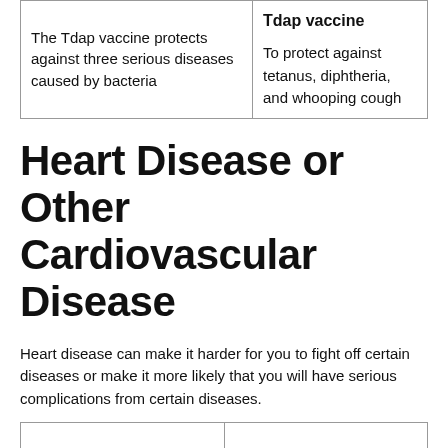| The Tdap vaccine protects against three serious diseases caused by bacteria | Tdap vaccine

To protect against tetanus, diphtheria, and whooping cough |
Heart Disease or Other Cardiovascular Disease
Heart disease can make it harder for you to fight off certain diseases or make it more likely that you will have serious complications from certain diseases.
|  |  |